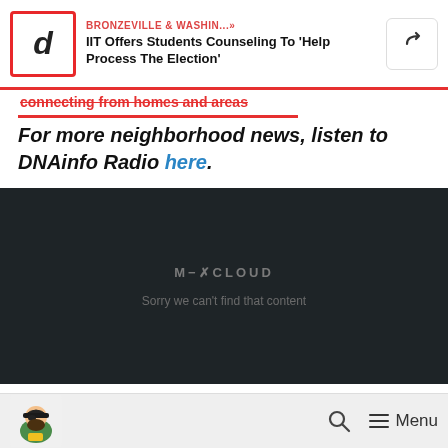BRONZEVILLE & WASHIN...» IIT Offers Students Counseling To 'Help Process The Election'
For more neighborhood news, listen to DNAinfo Radio here.
[Figure (screenshot): Mixcloud embedded audio player with dark background showing error message: 'M-XCLOUD' and 'Sorry we can't find that content']
Menu